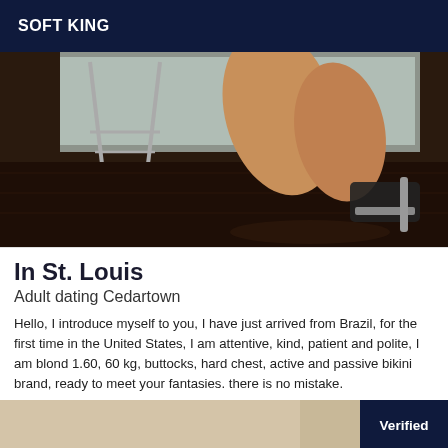SOFT KING
[Figure (photo): Close-up photo of a person's legs wearing high-heeled platform sandals, seated near a metal chair on a dark wood floor with a window in the background.]
In St. Louis
Adult dating Cedartown
Hello, I introduce myself to you, I have just arrived from Brazil, for the first time in the United States, I am attentive, kind, patient and polite, I am blond 1.60, 60 kg, buttocks, hard chest, active and passive bikini brand, ready to meet your fantasies. there is no mistake.
[Figure (photo): Partial photo at bottom of page showing a light-colored background, with a dark navy 'Verified' badge in the bottom right corner.]